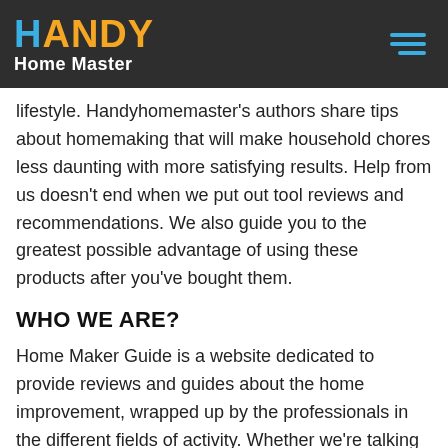HANDY Home Master
lifestyle. Handyhomemaster’s authors share tips about homemaking that will make household chores less daunting with more satisfying results. Help from us doesn’t end when we put out tool reviews and recommendations. We also guide you to the greatest possible advantage of using these products after you’ve bought them.
WHO WE ARE?
Home Maker Guide is a website dedicated to provide reviews and guides about the home improvement, wrapped up by the professionals in the different fields of activity. Whether we’re talking about lawn mowers, shower systems or caulking